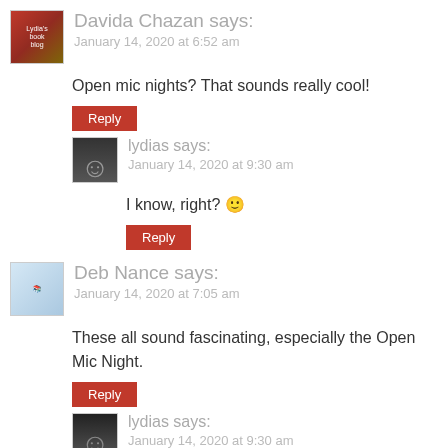Davida Chazan says: January 14, 2020 at 6:52 am
Open mic nights? That sounds really cool!
Reply
lydias says: January 14, 2020 at 9:30 am
I know, right? 🙂
Reply
Deb Nance says: January 14, 2020 at 7:05 am
These all sound fascinating, especially the Open Mic Night.
Reply
lydias says: January 14, 2020 at 9:30 am